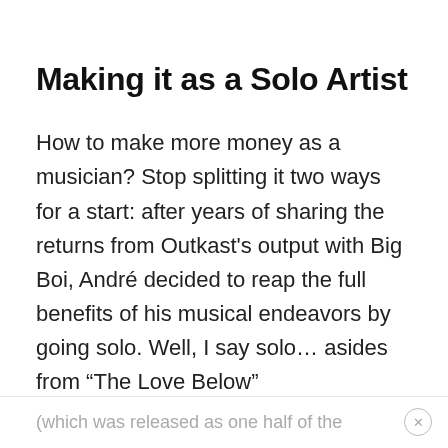Making it as a Solo Artist
How to make more money as a musician? Stop splitting it two ways for a start: after years of sharing the returns from Outkast's output with Big Boi, André decided to reap the full benefits of his musical endeavors by going solo. Well, I say solo… asides from “The Love Below”
(which was released as one half of the